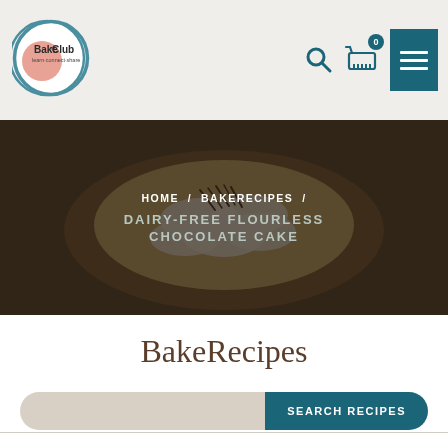[Figure (logo): Bake Club logo - circular with teal border and salmon/pink circle accent, text 'Bake Club learn.connect.share']
[Figure (photo): Dark overhead photo of a fruit tart with banana slices and chocolate shavings, used as hero banner background]
HOME / BAKERECIPES / DAIRY-FREE FLOURLESS CHOCOLATE CAKE
BakeRecipes
SEARCH RECIPES